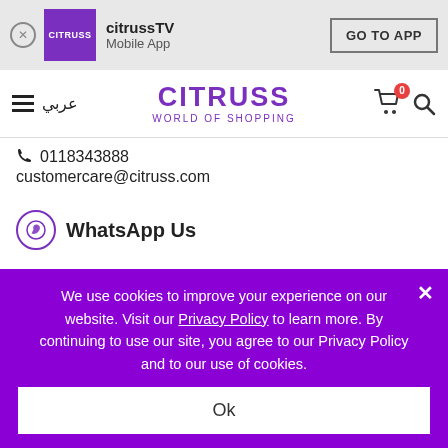[Figure (screenshot): App banner with Citruss logo, app name 'citrussTV', subtitle 'Mobile App', and 'GO TO APP' button]
CITRUSS WORLD OF SHOPPING
0118343888
customercare@citruss.com
WhatsApp Us
DOWNLOAD APP
Android
IOS
We use cookies to improve your experience on our website. Visit our Privacy Policy to learn more. By continuing to use our site, you agree to our Privacy Policy and to our use of cookies.
Ok